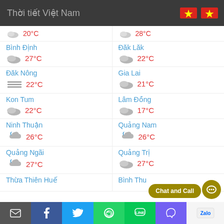Thời tiết Việt Nam
20°C | 28°C (partial top row)
Bình Định 27°C | Đăk Lăk 22°C
Đăk Nông 22°C | Gia Lai 21°C
Kon Tum 22°C | Lâm Đồng 17°C
Ninh Thuận 26°C | Quảng Nam 26°C
Quảng Ngãi 27°C | Quảng Trị 27°C
Thừa Thiên Huế | Bình Thu...